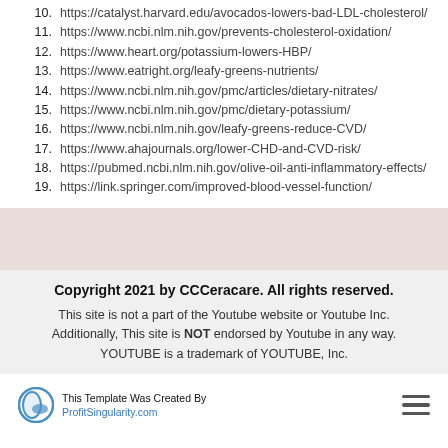10. https://catalyst.harvard.edu/avocados-lowers-bad-LDL-cholesterol/
11. https://www.ncbi.nlm.nih.gov/prevents-cholesterol-oxidation/
12. https://www.heart.org/potassium-lowers-HBP/
13. https://www.eatright.org/leafy-greens-nutrients/
14. https://www.ncbi.nlm.nih.gov/pmc/articles/dietary-nitrates/
15. https://www.ncbi.nlm.nih.gov/pmc/dietary-potassium/
16. https://www.ncbi.nlm.nih.gov/leafy-greens-reduce-CVD/
17. https://www.ahajournals.org/lower-CHD-and-CVD-risk/
18. https://pubmed.ncbi.nlm.nih.gov/olive-oil-anti-inflammatory-effects/
19. https://link.springer.com/improved-blood-vessel-function/
Copyright 2021 by CCCeracare. All rights reserved.
This site is not a part of the Youtube website or Youtube Inc. Additionally, This site is NOT endorsed by Youtube in any way. YOUTUBE is a trademark of YOUTUBE, Inc.
This Template Was Created By ProfitSingularity.com